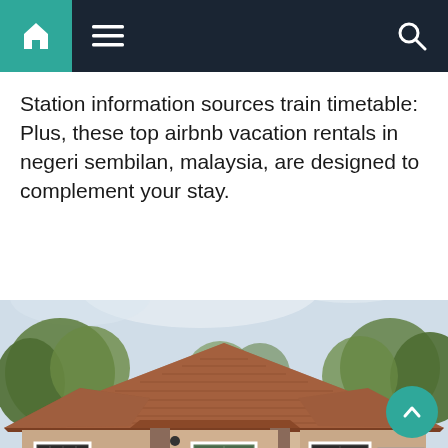Navigation bar with home icon, menu icon, and search icon
Station information sources train timetable: Plus, these top airbnb vacation rentals in negeri sembilan, malaysia, are designed to complement your stay.
[Figure (photo): Exterior photo of a single-storey Malaysian bungalow house with a brown/terracotta tiled hipped roof, beige painted walls, windows with shutters, surrounded by trees, overcast sky.]